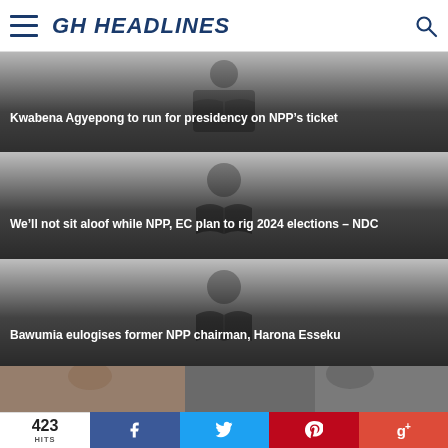GH HEADLINES
[Figure (photo): News card with newspaper placeholder icon, headline: Kwabena Agyepong to run for presidency on NPP's ticket]
Kwabena Agyepong to run for presidency on NPP’s ticket
[Figure (photo): News card with newspaper placeholder icon, headline: We'll not sit aloof while NPP, EC plan to rig 2024 elections – NDC]
We’ll not sit aloof while NPP, EC plan to rig 2024 elections – NDC
[Figure (photo): News card with newspaper placeholder icon, headline: Bawumia eulogises former NPP chairman, Harona Esseku]
Bawumia eulogises former NPP chairman, Harona Esseku
[Figure (photo): Partial photo strip showing people]
423 HITS